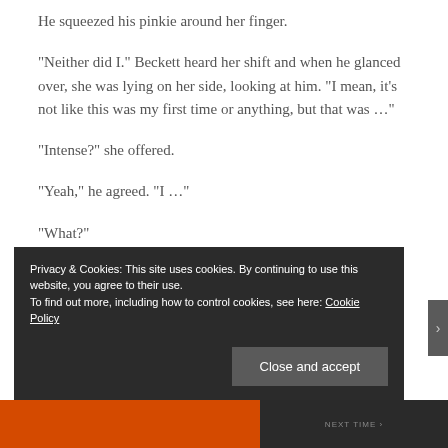He squeezed his pinkie around her finger.
“Neither did I.” Beckett heard her shift and when he glanced over, she was lying on her side, looking at him. “I mean, it’s not like this was my first time or anything, but that was …”
“Intense?” she offered.
“Yeah,” he agreed. “I …”
“What?”
Privacy & Cookies: This site uses cookies. By continuing to use this website, you agree to their use.
To find out more, including how to control cookies, see here: Cookie Policy